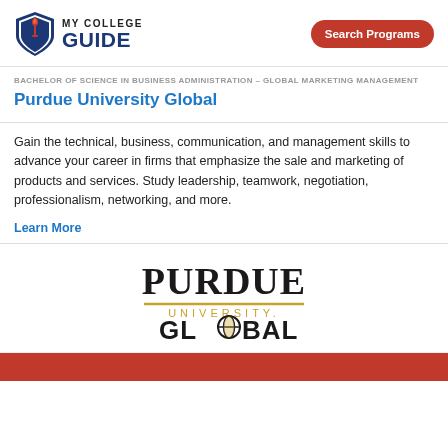[Figure (logo): My College Guide logo with shield icon]
Search Programs
BACHELOR OF SCIENCE IN BUSINESS ADMINISTRATION – GLOBAL MARKETING MANAGEMENT
Purdue University Global
Gain the technical, business, communication, and management skills to advance your career in firms that emphasize the sale and marketing of products and services. Study leadership, teamwork, negotiation, professionalism, networking, and more.
Learn More
[Figure (logo): Purdue University Global logo]